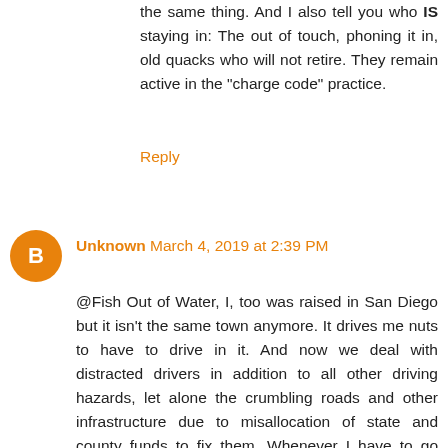the same thing. And I also tell you who IS staying in: The out of touch, phoning it in, old quacks who will not retire. They remain active in the "charge code" practice.
Reply
Unknown March 4, 2019 at 2:39 PM
@Fish Out of Water, I, too was raised in San Diego but it isn't the same town anymore. It drives me nuts to have to drive in it. And now we deal with distracted drivers in addition to all other driving hazards, let alone the crumbling roads and other infrastructure due to misallocation of state and county funds to fix them. Whenever I have to go there for medical or other services not available where I live, I can hardly wait to drop down the summit to my little tiny desert town. But alas, it is still CA. The motto in CA appears to be: Build, build, build. More people, more houses, more traffic, blah, blah, blah. I am grateful there is the wide expanse of land that is Camp Pendleton or there would be houses stretching every square mile from SD county all the way to Orange county. I am ready for country life. I promise to leave any CA crap behind in CA where it belongs.